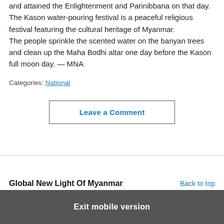and attained the Enlightenment and Parinibbana on that day. The Kason water-pouring festival is a peaceful religious festival featuring the cultural heritage of Myanmar. The people sprinkle the scented water on the banyan trees and clean up the Maha Bodhi altar one day before the Kason full moon day. — MNA
Categories: National
Leave a Comment
Global New Light Of Myanmar   Back to top
Exit mobile version